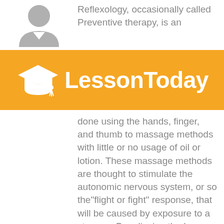[Figure (illustration): Gray silhouette avatar of a person (head and shoulders) in top-left area]
Reflexology, occasionally called Preventive therapy, is an
[Figure (logo): LessonToday logo on orange/yellow banner background with graduation cap icon in white]
done using the hands, finger, and thumb to massage methods with little or no usage of oil or lotion. These massage methods are thought to stimulate the autonomic nervous system, or so the"flight or fight" response, that will be caused by exposure to a stressor. By relieving the human body with the"flight or fight" reaction, Reflexology can be utilized to reduce or eliminate stress and stress.